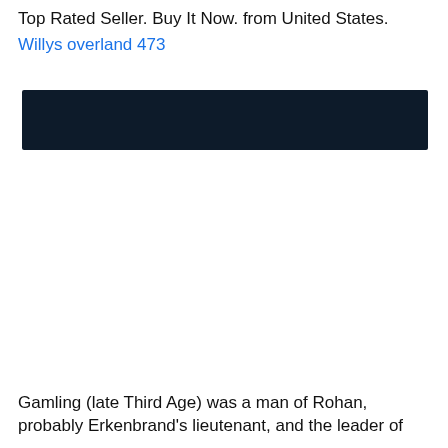Top Rated Seller. Buy It Now. from United States.
Willys overland 473
[Figure (other): Dark navy/black horizontal banner bar]
Gamling (late Third Age) was a man of Rohan, probably Erkenbrand's lieutenant, and the leader of